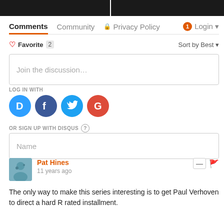[Figure (photo): Two dark screenshot images side by side at the top of the page]
Comments  Community  🔒 Privacy Policy  1 Login
♡ Favorite  2   Sort by Best ▾
Join the discussion…
LOG IN WITH
[Figure (logo): Social login icons: Disqus (D), Facebook (f), Twitter bird, Google (G)]
OR SIGN UP WITH DISQUS ?
Name
Pat Hines
11 years ago
The only way to make this series interesting is to get Paul Verhoven to direct a hard R rated installment.